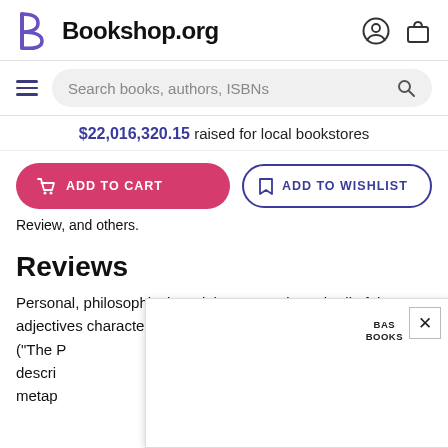Bookshop.org
$22,016,320.15 raised for local bookstores
ADD TO CART   ADD TO WISHLIST
Review, and others.
Reviews
Personal, philosophical, social, nature-oriented--all of these adjectives characterize this book composed by a mature... ("The P... off by descri... s metap... y, his